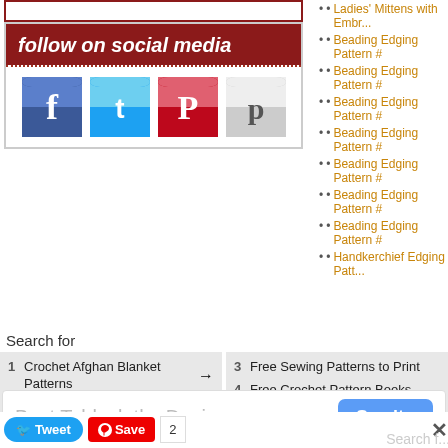[Figure (screenshot): Social media follow banner with red header reading 'follow on social media' and icons for Facebook, Twitter, Pinterest, and Patreon below on white background with dotted red border separator]
Ladies' Mittens with Embr...
Beading Edging Pattern #
Beading Edging Pattern #
Beading Edging Pattern #
Beading Edging Pattern #
Beading Edging Pattern #
Beading Edging Pattern #
Beading Edging Pattern #
Handkerchief Edging Patt...
Search for
1 Crochet Afghan Blanket Patterns → 3 Free Sewing Patterns to Print
2 Free Crochet Baby Blanket → 4 Free Crochet Pattern Books
[Figure (screenshot): Tweet and Save social sharing buttons with count 2, and close X button]
[Figure (screenshot): Advertisement banner: Best Tablecloths Designs with See it button]